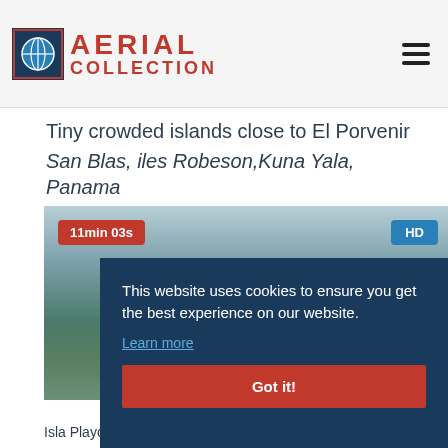AERIAL COLLECTION
Tiny crowded islands close to El Porvenir
San Blas, iles Robeson,Kuna Yala, Panama
[Figure (screenshot): Aerial video thumbnail showing coastal/island scenery with duration badge '11min 03s' and HD quality badge]
This website uses cookies to ensure you get the best experience on our website. Learn more
Got it!
Isla Playon Chico and San Ignacio de Tupile